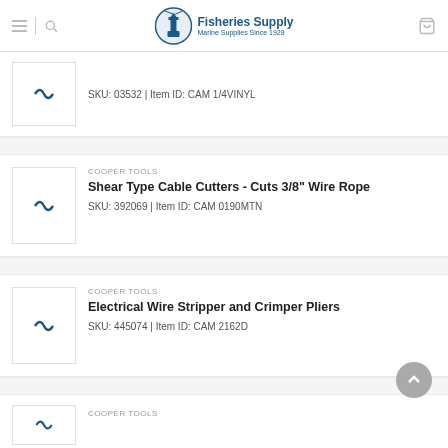Fisheries Supply — Marine Supplies Since 1928
SKU: 03532 | Item ID: CAM 1/4VINYL
COOPER TOOLS
Shear Type Cable Cutters - Cuts 3/8" Wire Rope
SKU: 392069 | Item ID: CAM 0190MTN
COOPER TOOLS
Electrical Wire Stripper and Crimper Pliers
SKU: 445074 | Item ID: CAM 2162D
COOPER TOOLS